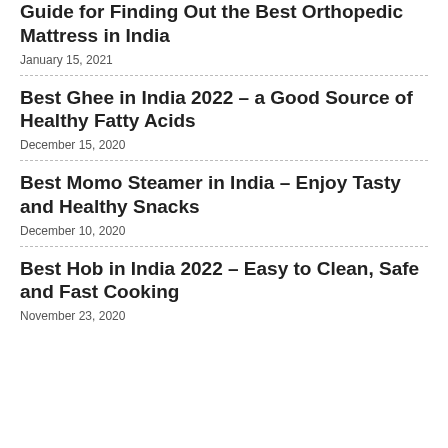Guide for Finding Out the Best Orthopedic Mattress in India
January 15, 2021
Best Ghee in India 2022 – a Good Source of Healthy Fatty Acids
December 15, 2020
Best Momo Steamer in India – Enjoy Tasty and Healthy Snacks
December 10, 2020
Best Hob in India 2022 – Easy to Clean, Safe and Fast Cooking
November 23, 2020